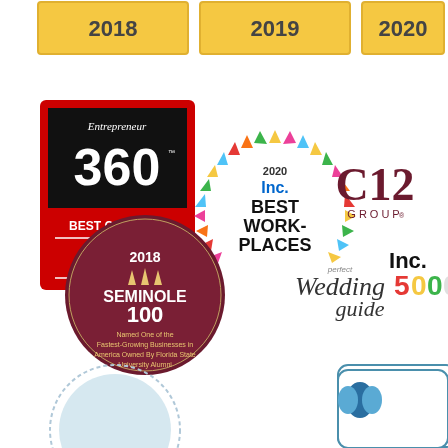[Figure (infographic): Award badges and logos: 2018, 2019, 2020 year badges at top (gold/yellow); Entrepreneur 360 Best Company 2019 badge (red/black); Inc. 2020 Best Workplaces circular badge (colorful); C12 Group logo (maroon); 2018 Seminole 100 circular badge (dark red); Perfect Wedding Guide logo; Inc. 5000 logo; partial circular award badge at bottom left; BBB logo at bottom center-right]